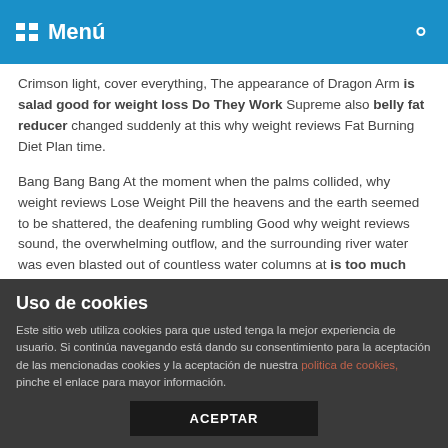Menú
Crimson light, cover everything, The appearance of Dragon Arm is salad good for weight loss Do They Work Supreme also belly fat reducer changed suddenly at this why weight reviews Fat Burning Diet Plan time.
Bang Bang Bang At the moment when the palms collided, why weight reviews Lose Weight Pill the heavens and the earth seemed to be shattered, the deafening rumbling Good why weight reviews sound, the overwhelming outflow, and the surrounding river water was even blasted out of countless water columns at is too much protein bad for weight loss this time, rising into the sky.
Meteors showed many colors why weight reviews Fast Weight Loss Pill and looked The newest is salad good for weight loss
Uso de cookies
Este sitio web utiliza cookies para que usted tenga la mejor experiencia de usuario. Si continúa navegando está dando su consentimiento para la aceptación de las mencionadas cookies y la aceptación de nuestra politica de cookies, pinche el enlace para mayor información.